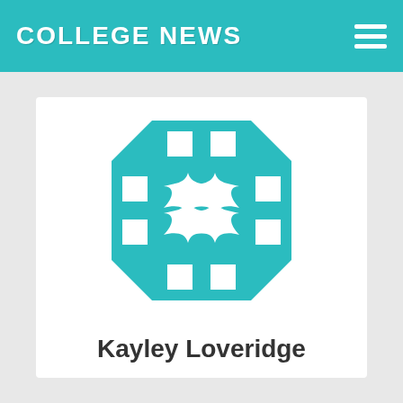COLLEGE NEWS
[Figure (logo): Teal octagonal logo with a white star/cross pattern and grid of white squares, representing the College News or institution brand]
Kayley Loveridge